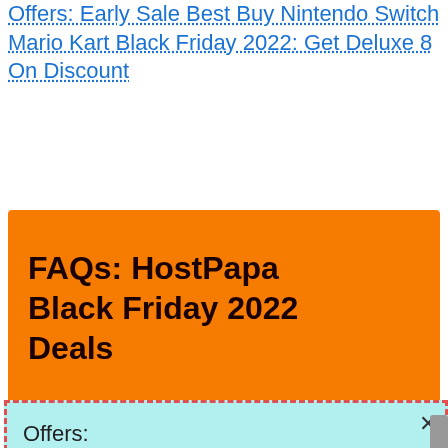Offers: Early Sale Best Buy Nintendo Switch Mario Kart Black Friday 2022: Get Deluxe 8 On Discount
FAQs: HostPapa Black Friday 2022 Deals
1. Where is Hostpapa located?
Offers: